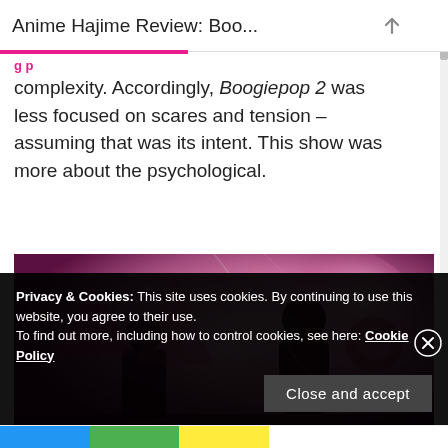Anime Hajime Review: Boo...
complexity. Accordingly, Boogiepop 2 was less focused on scares and tension – assuming that was its intent. This show was more about the psychological.
[Figure (photo): Anime screenshot showing silhouettes of characters with pink/purple lighting and dramatic visual composition]
Privacy & Cookies: This site uses cookies. By continuing to use this website, you agree to their use.
To find out more, including how to control cookies, see here: Cookie Policy